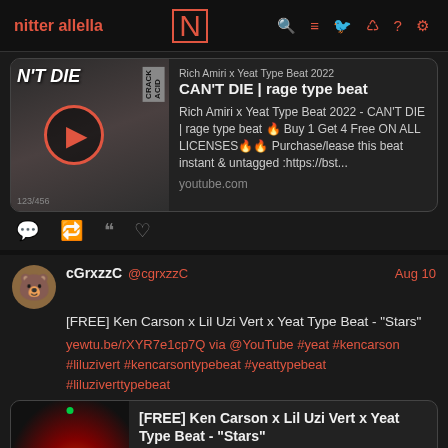nitter allella | N | icons
[Figure (screenshot): Video thumbnail for CAN'T DIE rage type beat with play button overlay]
Rich Amiri x Yeat Type Beat 2022 - CAN'T DIE | rage type beat
CAN'T DIE | rage type beat
Rich Amiri x Yeat Type Beat 2022 - CAN'T DIE | rage type beat 🔥 Buy 1 Get 4 Free ON ALL LICENSES🔥🔥 Purchase/lease this beat instant & untagged :https://bst...
youtube.com
cGrxzzC @cgrxzzC Aug 10
[FREE] Ken Carson x Lil Uzi Vert x Yeat Type Beat - "Stars"
yewtu.be/rXYR7e1cp7Q via @YouTube #yeat #kencarson #liluzivert #kencarsontypebeat #yeattypebeat #liluziverttypebeat
[Figure (screenshot): Video thumbnail for FREE Ken Carson x Lil Uzi Vert x Yeat Type Beat Stars]
[FREE] Ken Carson x Lil Uzi Vert x Yeat Type Beat - "Stars"
🎹 Download | Purchase: KEY: FMINBPM: 155Check out my website!: http://... official... FOL OW MY